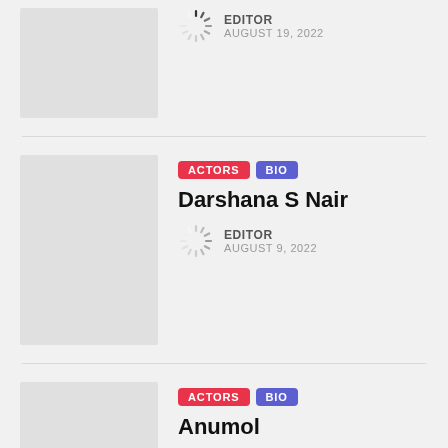[Figure (photo): Gray placeholder thumbnail image for first article (partial, top of page)]
EDITOR
AUGUST 19, 2022
[Figure (photo): Gray placeholder thumbnail image for Darshana S Nair article]
ACTORS  BIO
Darshana S Nair
EDITOR
AUGUST 9, 2022
[Figure (photo): Gray placeholder thumbnail image for Anumol article]
ACTORS  BIO
Anumol